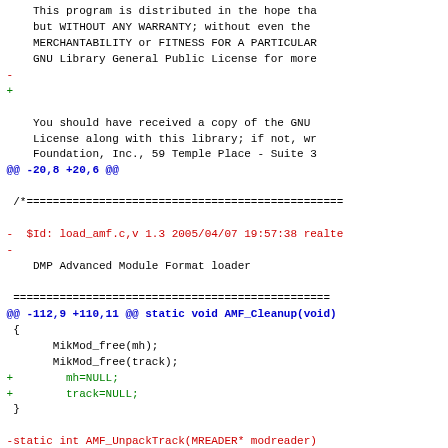Diff/patch code block showing changes to load_amf.c with context, removed, and added lines including @@ markers and code changes to AMF_Cleanup and AMF_UnpackTrack functions.